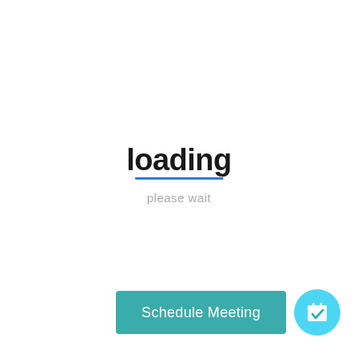loading
please wait
[Figure (screenshot): A loading screen UI with bold 'loading' text, a blue underline, 'please wait' subtitle, a teal 'Schedule Meeting' button, and a cyan circle icon button with a calendar checkmark.]